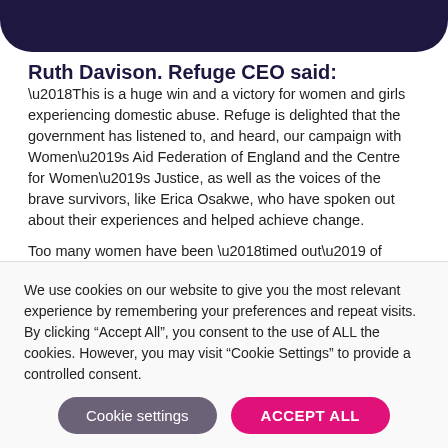Ruth Davison. Refuge CEO said:
‘This is a huge win and a victory for women and girls experiencing domestic abuse. Refuge is delighted that the government has listened to, and heard, our campaign with Women’s Aid Federation of England and the Centre for Women’s Justice, as well as the voices of the brave survivors, like Erica Osakwe, who have spoken out about their experiences and helped achieve change.
Too many women have been ‘timed out’ of accessing justice, with the arbitrary 6-month time limit. It can take many months, even
We use cookies on our website to give you the most relevant experience by remembering your preferences and repeat visits. By clicking “Accept All”, you consent to the use of ALL the cookies. However, you may visit “Cookie Settings” to provide a controlled consent.